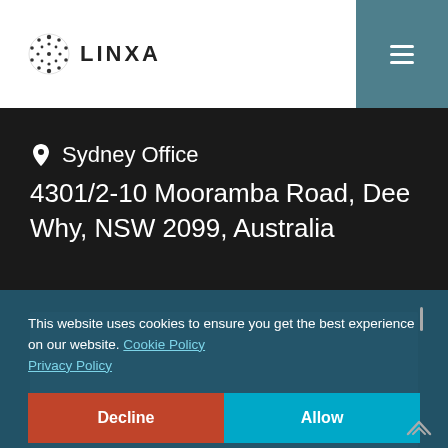[Figure (logo): LINXA logo with dot-grid circular icon and text LINXA in bold letters]
Sydney Office
4301/2-10 Mooramba Road, Dee Why, NSW 2099, Australia
[Figure (other): Teal/blue-green map or contact card area]
This website uses cookies to ensure you get the best experience on our website. Cookie Policy Privacy Policy
Decline
Allow